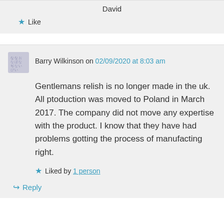David
★ Like
Barry Wilkinson on 02/09/2020 at 8:03 am
Gentlemans relish is no longer made in the uk. All ptoduction was moved to Poland in March 2017. The company did not move any expertise with the product. I know that they have had problems gotting the process of manufacting right.
★ Liked by 1 person
↪ Reply